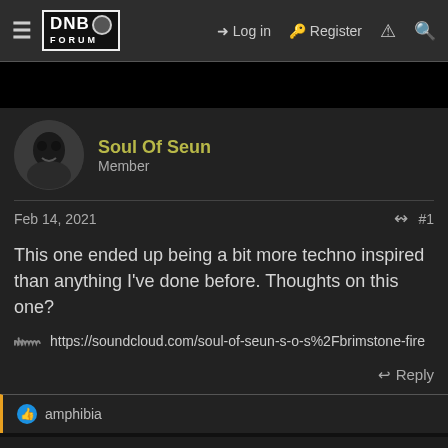DNB FORUM — Log in | Register
Soul Of Seun
Member
Feb 14, 2021  #1
This one ended up being a bit more techno inspired than anything I've done before. Thoughts on this one?
https://soundcloud.com/soul-of-seun-s-o-s%2Fbrimstone-fire
Reply
amphibia
gremino
Member